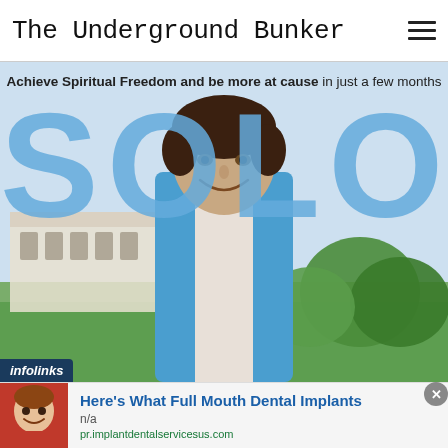The Underground Bunker
[Figure (photo): Advertisement image for 'SOLO' program with tagline 'Achieve Spiritual Freedom and be more at cause in just a few months'. Large blue text 'SOLO' overlaid on a photo of a smiling man in a blue and white shirt outdoors with a building and greenery in the background. An 'infolinks' badge appears in the lower left corner of the image.]
[Figure (photo): Bottom advertisement banner: small photo of a young person smiling, with headline 'Here’s What Full Mouth Dental Implants', subtext 'n/a', and URL 'pr.implantdentalservicesus.com'. A blue circular arrow button appears on the right side.]